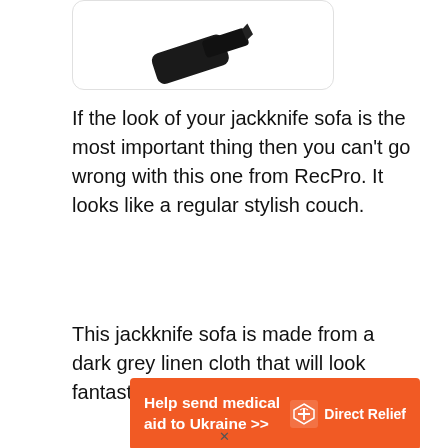[Figure (photo): Partial view of a dark/black jackknife sofa product image inside a white rounded rectangle card, cropped at top]
If the look of your jackknife sofa is the most important thing then you can't go wrong with this one from RecPro. It looks like a regular stylish couch.
This jackknife sofa is made from a dark grey linen cloth that will look fantastic in any RV. Be
[Figure (other): Orange advertisement banner reading 'Help send medical aid to Ukraine >>' with Direct Relief logo on the right]